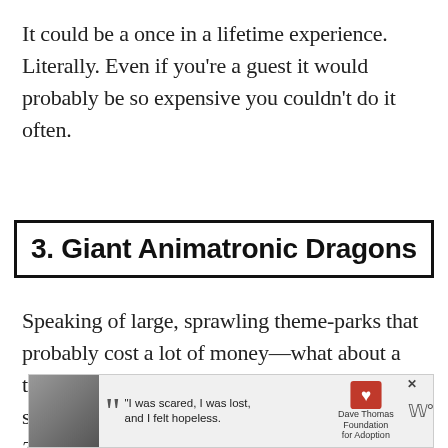It could be a once in a lifetime experience. Literally. Even if you're a guest it would probably be so expensive you couldn't do it often.
3. Giant Animatronic Dragons
Speaking of large, sprawling theme-parks that probably cost a lot of money—what about a theme park filled with dragons? You know, something that would appeal to Game of Thrones
[Figure (screenshot): Advertisement banner with a woman photo, a quote 'I was scared, I was lost, and I felt hopeless.' attributed to Dave Thomas Foundation for Adoption, with a Wendy's logo on the right and an X close button.]